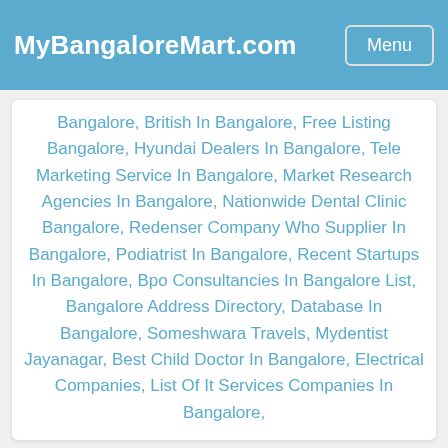MyBangaloreMart.com | Menu
Bangalore, British In Bangalore, Free Listing Bangalore, Hyundai Dealers In Bangalore, Tele Marketing Service In Bangalore, Market Research Agencies In Bangalore, Nationwide Dental Clinic Bangalore, Redenser Company Who Supplier In Bangalore, Podiatrist In Bangalore, Recent Startups In Bangalore, Bpo Consultancies In Bangalore List, Bangalore Address Directory, Database In Bangalore, Someshwara Travels, Mydentist Jayanagar, Best Child Doctor In Bangalore, Electrical Companies, List Of It Services Companies In Bangalore,
2017 © My Bangalore Mart All Rights Reserved.
Term of Uses | Privacy Policy | Contact Us